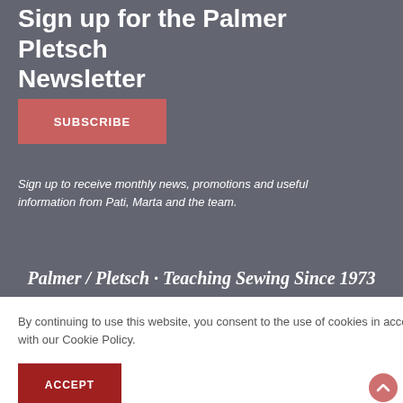Sign up for the Palmer Pletsch Newsletter
[Figure (other): SUBSCRIBE button - red/salmon colored rectangular button with white bold text]
Sign up to receive monthly news, promotions and useful information from Pati, Marta and the team.
Palmer / Pletsch · Teaching Sewing Since 1973
By continuing to use this website, you consent to the use of cookies in accordance with our Cookie Policy.
[Figure (other): ACCEPT button - dark red rectangular button with white bold text]
E BY GALLI